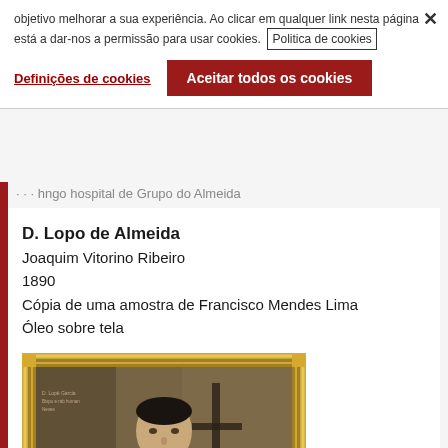objetivo melhorar a sua experiência. Ao clicar em qualquer link nesta página está a dar-nos a permissão para usar cookies.  Politica de cookies
Definições de cookies   Aceitar todos os cookies
... hngo hospital de Grupo do Almeida
D. Lopo de Almeida
Joaquim Vitorino Ribeiro
1890
Cópia de uma amostra de Francisco Mendes Lima
Óleo sobre tela
[Figure (photo): Portrait painting in an ornate gold frame, showing a man in dark clerical robes holding a book, with a cross visible in the background. Small text inscription in upper left of the painting.]